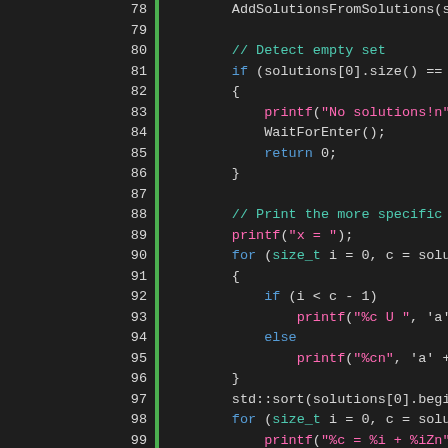[Figure (screenshot): Source code editor screenshot showing C++ code lines 78-106 with syntax highlighting on a dark background. Line numbers displayed in gutter with green vertical bar separator. Keywords in blue, printf calls in pink, comments in teal, string literals in pink.]